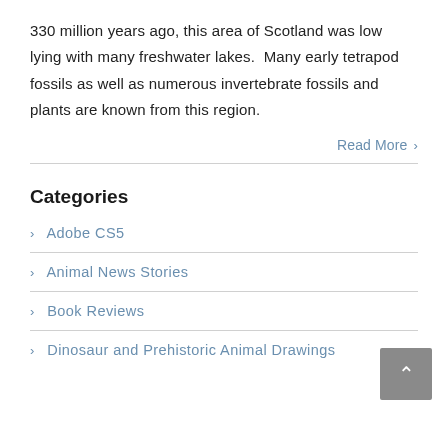330 million years ago, this area of Scotland was low lying with many freshwater lakes.  Many early tetrapod fossils as well as numerous invertebrate fossils and plants are known from this region.
Read More >
Categories
> Adobe CS5
> Animal News Stories
> Book Reviews
> Dinosaur and Prehistoric Animal Drawings